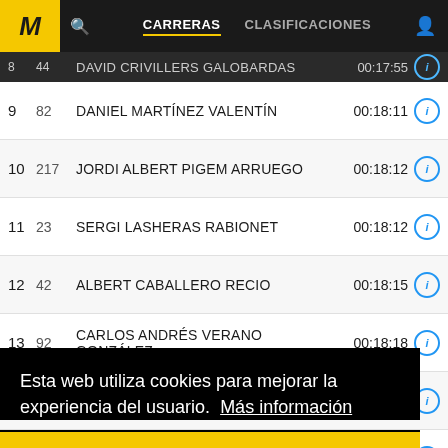M | CARRERAS | CLASIFICACIONES
| Pos | Num | Name | Time | Info |
| --- | --- | --- | --- | --- |
| 8 | 44 | DAVID CRIVILLERS GALOBARDAS | 00:17:55 | i |
| 9 | 82 | DANIEL MARTÍNEZ VALENTÍN | 00:18:11 | i |
| 10 | 217 | JORDI ALBERT PIGEM ARRUEGO | 00:18:12 | i |
| 11 | 23 | SERGI LASHERAS RABIONET | 00:18:12 | i |
| 12 | 42 | ALBERT CABALLERO RECIO | 00:18:15 | i |
| 13 | 92 | CARLOS ANDRÉS VERANO GONZÁLEZ | 00:18:18 | i |
| 14 | 59 | MIQUEL MORALES ROLDAN | 00:18:38 | i |
| 15 | — | — | :38 | i |
| 16 | — | — | :58 | i |
| 17 | — | — | :02 | i |
| 18 | — | — | :11 | i |
| 19 | 289 | CARLES GIBERT SOLÉ | 00:19:14 | i |
Esta web utiliza cookies para mejorar la experiencia del usuario. Más información
Aceptar